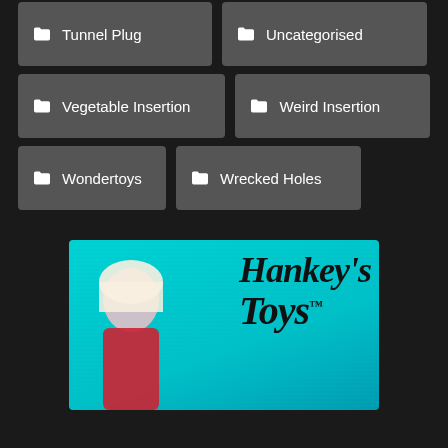Tunnel Plug
Uncategorised
Vegetable Insertion
Weird Insertion
Wondertoys
Wrecked Holes
[Figure (photo): Advertisement banner for Hankey's Toys featuring a blonde woman in red and the Hankey's Toys logo in script font on a teal background]